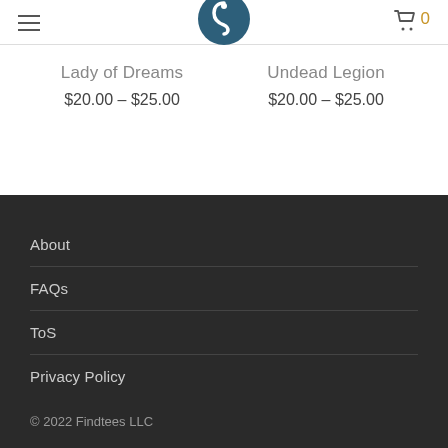Findtees logo header with hamburger menu and cart (0 items)
Lady of Dreams
$20.00 – $25.00
Undead Legion
$20.00 – $25.00
About
FAQs
ToS
Privacy Policy
© 2022 Findtees LLC